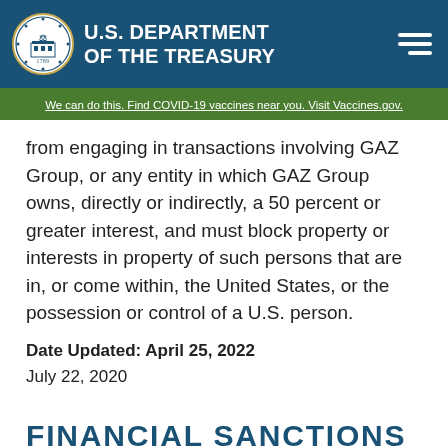U.S. DEPARTMENT OF THE TREASURY
We can do this. Find COVID-19 vaccines near you. Visit Vaccines.gov.
from engaging in transactions involving GAZ Group, or any entity in which GAZ Group owns, directly or indirectly, a 50 percent or greater interest, and must block property or interests in property of such persons that are in, or come within, the United States, or the possession or control of a U.S. person.
Date Updated: April 25, 2022
July 22, 2020
FINANCIAL SANCTIONS